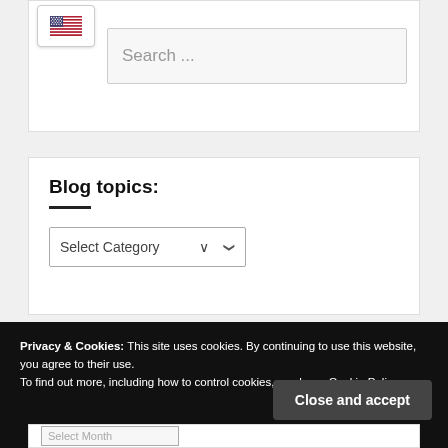[Figure (screenshot): Flag icon button showing US flag, part of a language/search widget]
Search ...
Blog topics:
Select Category
Privacy & Cookies: This site uses cookies. By continuing to use this website, you agree to their use.
To find out more, including how to control cookies, see here: Cookie Policy
Close and accept
Select Month